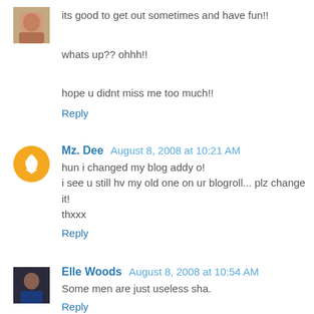its good to get out sometimes and have fun!!

whats up?? ohhh!!

hope u didnt miss me too much!!
Reply
Mz. Dee  August 8, 2008 at 10:21 AM
hun i changed my blog addy o!
i see u still hv my old one on ur blogroll... plz change it!
thxxx
Reply
Elle Woods  August 8, 2008 at 10:54 AM
Some men are just useless sha.
Reply